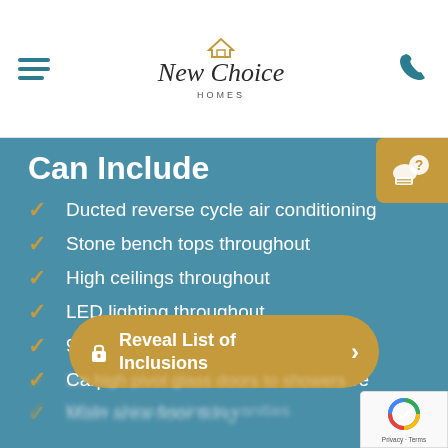New Choice Homes
Can Include
Ducted reverse cycle air conditioning
Stone bench tops throughout
High ceilings throughout
LED lighting throughout
900mm stainless steel appliances
Carpets to all bedrooms and theatre
Main area floor tiling
Reveal List of Inclusions
2m high pivot glass doors to showers
White china basins to vanities